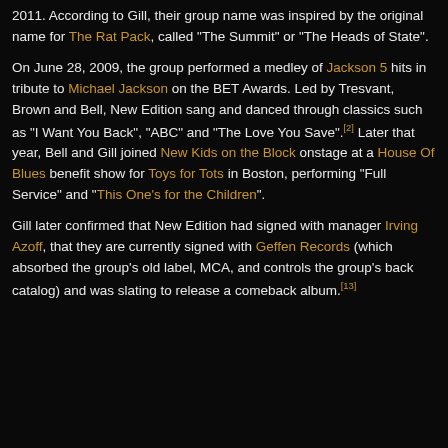2011. According to Gill, their group name was inspired by the original name for The Rat Pack, called 'The Summit' or 'The Heads of State'.
On June 28, 2009, the group performed a medley of Jackson 5 hits in tribute to Michael Jackson on the BET Awards. Led by Tresvant, Brown and Bell, New Edition sang and danced through classics such as 'I Want You Back', 'ABC' and 'The Love You Save'.[2] Later that year, Bell and Gill joined New Kids on the Block onstage at a House Of Blues benefit show for Toys for Tots in Boston, performing 'Full Service' and 'This One's for the Children'.
Gill later confirmed that New Edition had signed with manager Irving Azoff, that they are currently signed with Geffen Records (which absorbed the group's old label, MCA, and controls the group's back catalog) and was slating to release a comeback album.[13]